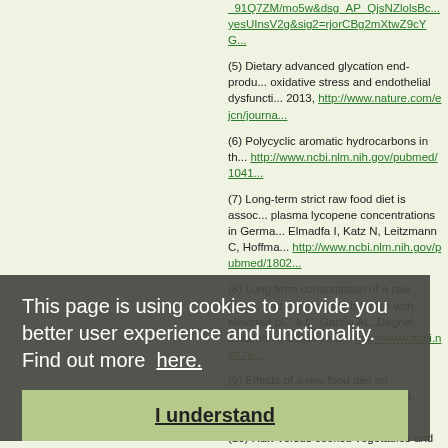(5) Dietary advanced glycation end-products, oxidative stress and endothelial dysfunction... 2013, http://www.nature.com/ejcn/journa...
(6) Polycyclic aromatic hydrocarbons in th... http://www.ncbi.nlm.nih.gov/pubmed/1041...
(7) Long-term strict raw food diet is assoc... plasma lycopene concentrations in Germa... Elmadfa I, Katz N, Leitzmann C, Hoffman... http://www.ncbi.nlm.nih.gov/pubmed/1802...
(8) Long-term consumption of a raw food... and triglycerides but also with elevated pl... k C, Garcia AL, Dagnel... Leitzmann, 2005. Find... http://www.ncbi.nlm.ni...
(9) Effects of a raw food diet on hypertens... Schmidt RD, Peters SN, Abelmann EA., 1...
(10) Raw versus cooked vegetables and c... http://www.ncbi.nlm.nih.gov/pubmed/1534...
(11) The effect of nuts on inflammation... S. Lopez-Uriarte P, Bullo M., 2008, http://ww...
This page is using cookies to provide you better user experience and functionality. Find out more here.